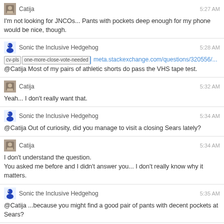Catija 5:27 AM
I'm not looking for JNCOs... Pants with pockets deep enough for my phone would be nice, though.
Sonic the Inclusive Hedgehog 5:28 AM
cv-pls | one-more-close-vote-needed | meta.stackexchange.com/questions/320556/...
@Catija Most of my pairs of athletic shorts do pass the VHS tape test.
Catija 5:32 AM
Yeah... I don't really want that.
Sonic the Inclusive Hedgehog 5:34 AM
@Catija Out of curiosity, did you manage to visit a closing Sears lately?
Catija 5:34 AM
I don't understand the question.
You asked me before and I didn't answer you... I don't really know why it matters.
Sonic the Inclusive Hedgehog 5:35 AM
@Catija ...because you might find a good pair of pants with decent pockets at Sears?
and myself 5:36 AM
10 Q: Winter Bash 2018 LEGO Prizes!
Happy holidays everyone! Bricks Stack Exchange is once again participating in the Winter Bash celebration with the rest of the Stack Exchange network! While this is a "just for fun" activity, there are also a